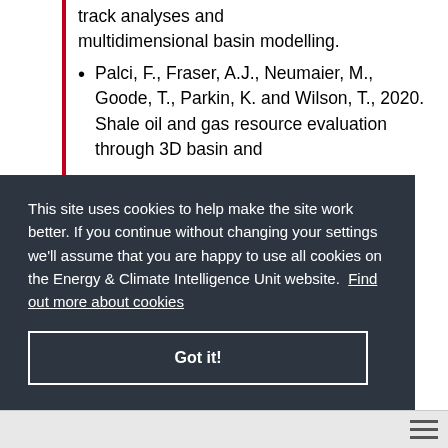track analyses and multidimensional basin modelling.
Palci, F., Fraser, A.J., Neumaier, M., Goode, T., Parkin, K. and Wilson, T., 2020. Shale oil and gas resource evaluation through 3D basin and
This site uses cookies to help make the site work better. If you continue without changing your settings we'll assume that you are happy to use all cookies on the Energy & Climate Intelligence Unit website.  Find out more about cookies
Got it!